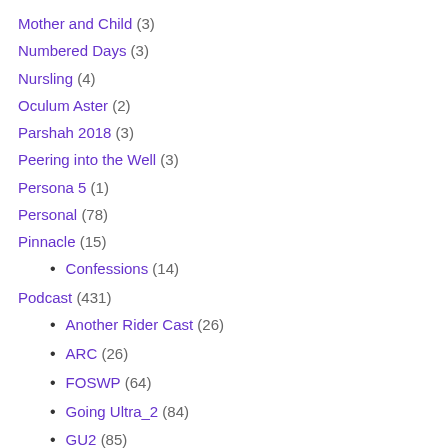Mother and Child (3)
Numbered Days (3)
Nursling (4)
Oculum Aster (2)
Parshah 2018 (3)
Peering into the Well (3)
Persona 5 (1)
Personal (78)
Pinnacle (15)
Confessions (14)
Podcast (431)
Another Rider Cast (26)
ARC (26)
FOSWP (64)
Going Ultra_2 (84)
GU2 (85)